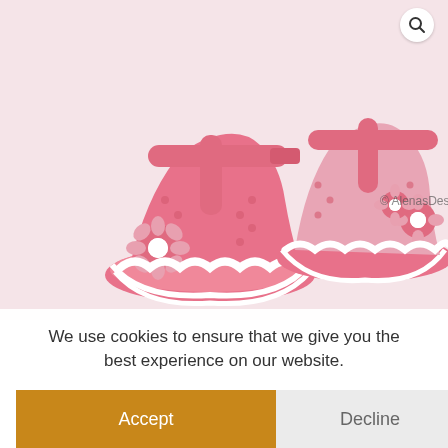[Figure (photo): Two pink crochet baby booties/sandals with white accents and flower decorations, photographed on a white background. Watermark reads '© AlenasDesign'. A search icon (magnifying glass) is visible in the top right corner.]
We use cookies to ensure that we give you the best experience on our website.
Accept
Decline